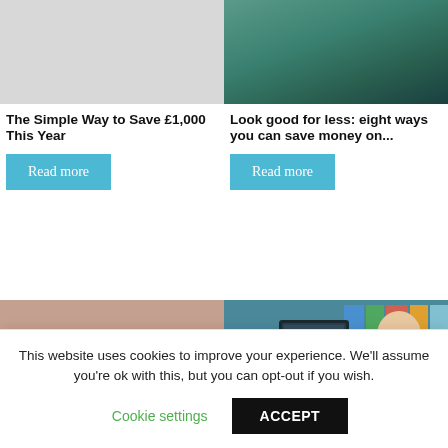[Figure (photo): Light gray placeholder image for article about saving £1,000]
[Figure (photo): Person wearing teal jacket, photo for look good for less article]
The Simple Way to Save £1,000 This Year
Look good for less: eight ways you can save money on...
Read more
Read more
[Figure (photo): Woman smiling, holding smartphone and credit card]
[Figure (photo): Person at self-checkout machine in store holding groceries]
This website uses cookies to improve your experience. We'll assume you're ok with this, but you can opt-out if you wish.
Cookie settings
ACCEPT